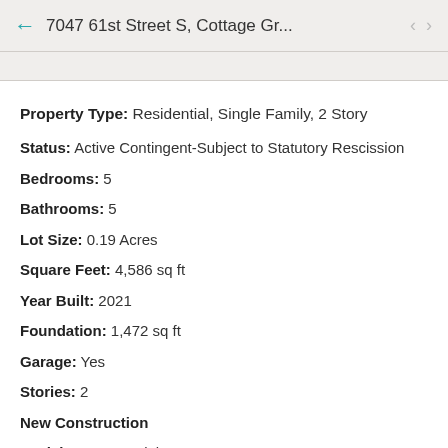7047 61st Street S, Cottage Gr...
Property Type: Residential, Single Family, 2 Story
Status: Active Contingent-Subject to Statutory Rescission
Bedrooms: 5
Bathrooms: 5
Lot Size: 0.19 Acres
Square Feet: 4,586 sq ft
Year Built: 2021
Foundation: 1,472 sq ft
Garage: Yes
Stories: 2
New Construction
Model Home: Model Home